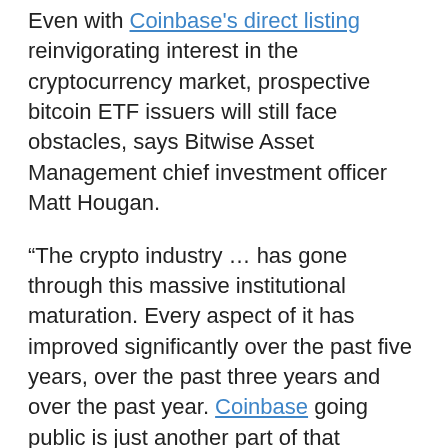Even with Coinbase's direct listing reinvigorating interest in the cryptocurrency market, prospective bitcoin ETF issuers will still face obstacles, says Bitwise Asset Management chief investment officer Matt Hougan.
“The crypto industry … has gone through this massive institutional maturation. Every aspect of it has improved significantly over the past five years, over the past three years and over the past year. Coinbase going public is just another part of that narrative,” he told CNBC’s “ETF Edge” this week.
“So, absolutely, we’re getting closer to a bitcoin ETF. I continue to think it’s a matter of when and not if, but we’re not all the way there yet,” he said. “The SEC has been asking good questions and companies like Bitwise and others have been working to address those. But I